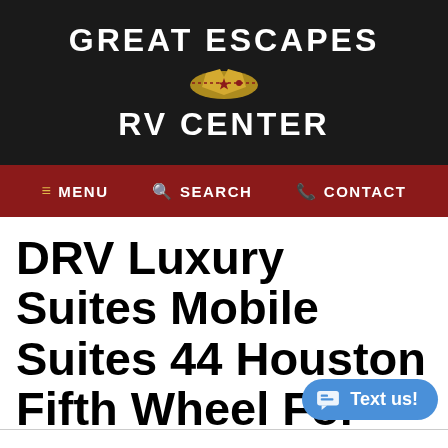GREAT ESCAPES RV CENTER
≡ MENU   🔍 SEARCH   📞 CONTACT
DRV Luxury Suites Mobile Suites 44 Houston Fifth Wheel For Sale